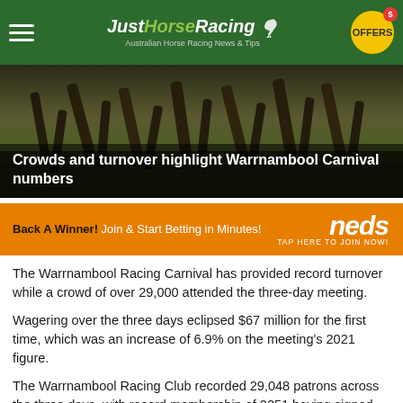JustHorseRacing — Australian Horse Racing News & Tips
[Figure (photo): Horses racing at Warrnambool Carnival, silhouetted legs running on turf]
Crowds and turnover highlight Warrnambool Carnival numbers
[Figure (infographic): Neds betting advertisement: Back A Winner! Join & Start Betting in Minutes! TAP HERE TO JOIN NOW!]
The Warrnambool Racing Carnival has provided record turnover while a crowd of over 29,000 attended the three-day meeting.
Wagering over the three days eclipsed $67 million for the first time, which was an increase of 6.9% on the meeting's 2021 figure.
The Warrnambool Racing Club recorded 29,048 patrons across the three days, with record membership of 2251 having signed on with the Club.
WRC chief executive Tom O'Connor said the Three-Day Carnival, incorporating Australia's longest race, the Grand Annual Steeplechase, was a significant event for the Victorian racing